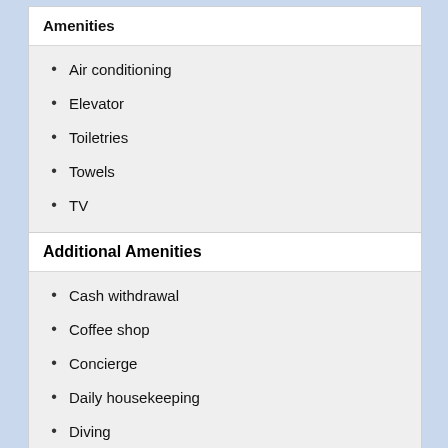Amenities
Air conditioning
Elevator
Toiletries
Towels
TV
Additional Amenities
Cash withdrawal
Coffee shop
Concierge
Daily housekeeping
Diving
Dry cleaning
Free Wi-Fi in all rooms!